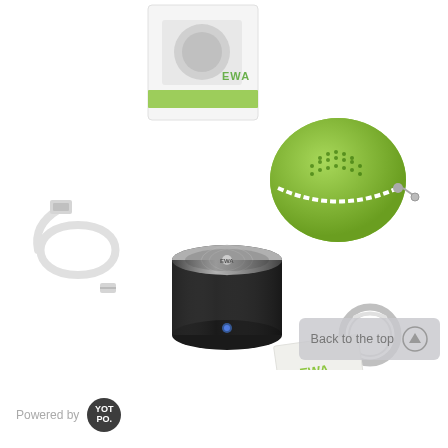[Figure (photo): Product photo showing EWA brand Bluetooth speaker components laid out on white background: small cylindrical black speaker with metallic mesh top, white USB charging cable, white product box with EWA branding and green accent stripe, round green zippered carrying case, metal keyring, and small EWA instruction booklet/card]
Back to the top
Powered by YOTPO.